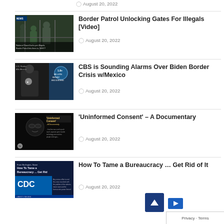August 20, 2022
[Figure (screenshot): Thumbnail for Border Patrol article showing people at a gate with text 'National Guard locks per illegals, Border Patrol lets them in, WHY?']
Border Patrol Unlocking Gates For Illegals [Video]
August 20, 2022
[Figure (screenshot): Thumbnail showing a border patrol agent with text 'U.S. Border Alfa Mexico, 1.9+ MILLION RECENT ENCOUNTERS']
CBS is Sounding Alarms Over Biden Border Crisis w/Mexico
August 20, 2022
[Figure (screenshot): Dark thumbnail with text 'Uninformed Consent - A Documentary ... how fear was used to push novel, unproven gene transfer technology onto and into people of all ages...']
'Uninformed Consent' – A Documentary
August 20, 2022
[Figure (screenshot): Thumbnail showing CDC logo with text 'How To Tame a Bureaucracy ... Get Rid of It']
How To Tame a Bureaucracy … Get Rid of It
August 20, 2022